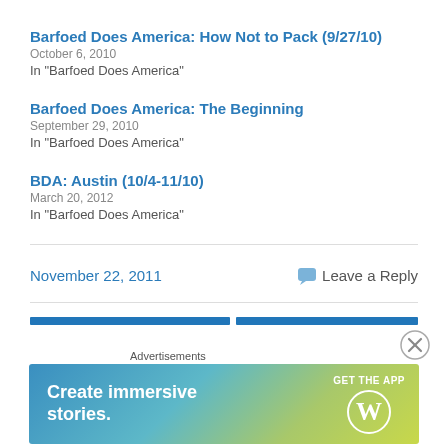Barfoed Does America: How Not to Pack (9/27/10)
October 6, 2010
In "Barfoed Does America"
Barfoed Does America: The Beginning
September 29, 2010
In "Barfoed Does America"
BDA: Austin (10/4-11/10)
March 20, 2012
In "Barfoed Does America"
November 22, 2011
Leave a Reply
[Figure (infographic): WordPress advertisement banner: 'Create immersive stories. GET THE APP' with WordPress logo]
Advertisements